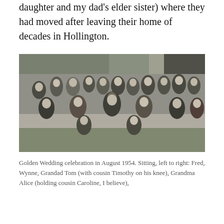daughter and my dad's elder sister) where they had moved after leaving their home of decades in Hollington.
[Figure (photo): Black and white group photograph of a large family gathering outdoors, posed in front of a brick wall with ivy. Three rows of people including adults, teenagers, and children. Two young boys sit in the front on the grass. Several adults are seated in the middle row and others stand behind.]
Golden Wedding celebration in August 1954. Sitting, left to right: Fred, Wynne, Grandad Tom (with cousin Timothy on his knee), Grandma Alice (holding cousin Caroline, I believe),